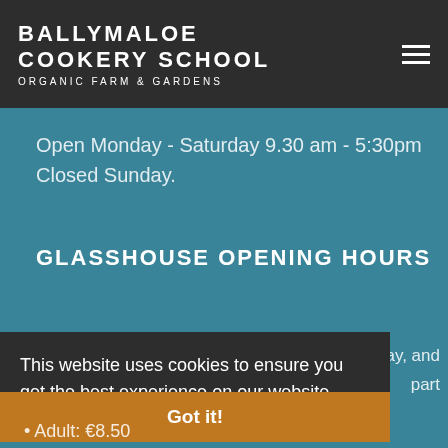BALLYMALOE COOKERY SCHOOL ORGANIC FARM & GARDENS
Open Monday - Saturday 9.30 am - 5:30pm
Closed Sunday.
GLASSHOUSE OPENING HOURS
ay, and
part
This website uses cookies to ensure you get the best experience on our website. Learn more
Got it!
Adult: €8.50